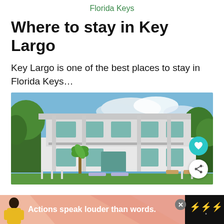Florida Keys
Where to stay in Key Largo
Key Largo is one of the best places to stay in Florida Keys…
[Figure (photo): Two-story white colonial-style house with covered balconies and porches, surrounded by palm trees and tropical vegetation, with a swimming pool in the foreground. Two circular buttons visible: a teal heart/favourite button and a white share button.]
[Figure (infographic): Black advertisement banner at the bottom showing a person in yellow jacket with text 'Actions speak louder than words.' on a peach/pink geometric background, with a close button and a logo on the right.]